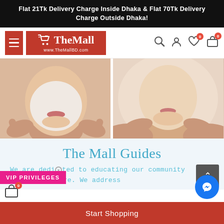Flat 21Tk Delivery Charge Inside Dhaka & Flat 70Tk Delivery Charge Outside Dhaka!
[Figure (logo): The Mall BD logo with shopping cart icon, red background, www.TheMallBD.com]
[Figure (photo): Two side-by-side photos of women touching their faces, one with a white face mask applied, one with clear skin]
The Mall Guides
We are dedicated to educating our community things skincare. We address
VIP PRIVILEGES
Start Shopping